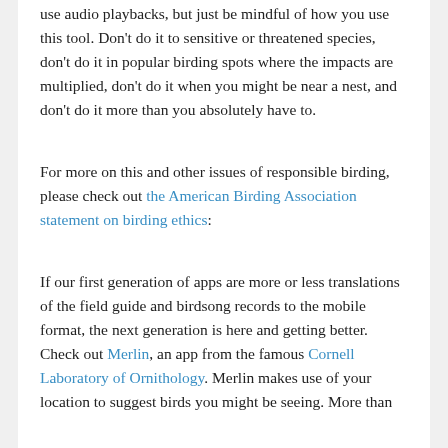use audio playbacks, but just be mindful of how you use this tool. Don't do it to sensitive or threatened species, don't do it in popular birding spots where the impacts are multiplied, don't do it when you might be near a nest, and don't do it more than you absolutely have to.
For more on this and other issues of responsible birding, please check out the American Birding Association statement on birding ethics:
If our first generation of apps are more or less translations of the field guide and birdsong records to the mobile format, the next generation is here and getting better. Check out Merlin, an app from the famous Cornell Laboratory of Ornithology. Merlin makes use of your location to suggest birds you might be seeing. More than